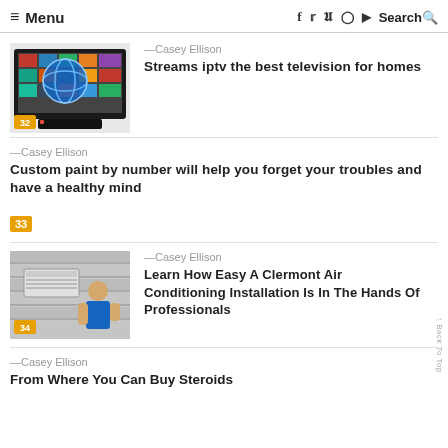≡ Menu  f  🐦  P  ○  ▶  Search 🔍
[Figure (screenshot): TV with globe showing streaming content, set-top box below, IPTV imagery]
—Casey Ellison
Streams iptv the best television for homes
—Casey Ellison
Custom paint by number will help you forget your troubles and have a healthy mind
[Figure (photo): Technician installing air conditioning unit on exterior wall]
—Casey Ellison
Learn How Easy A Clermont Air Conditioning Installation Is In The Hands Of Professionals
—Casey Ellison
From Where You Can Buy Steroids